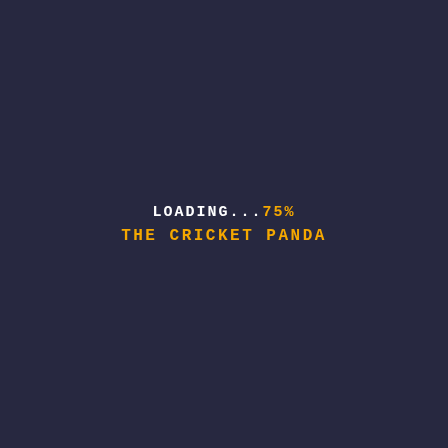LOADING...75%
THE CRICKET PANDA